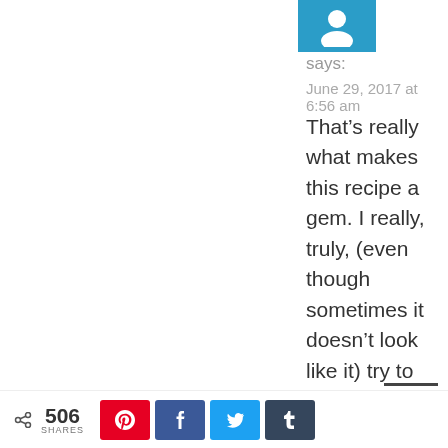[Figure (other): Blue avatar/profile icon with a white circular head and shoulders silhouette]
says:
June 29, 2017 at 6:56 am
That’s really what makes this recipe a gem. I really, truly, (even though sometimes it doesn’t look like it) try to stay away from recipes that have super long ingredients. I like simple, good food. Most times, the simpler the better! Thanks
< 506 SHARES [Pinterest] [Facebook] [Twitter] [Tumblr]